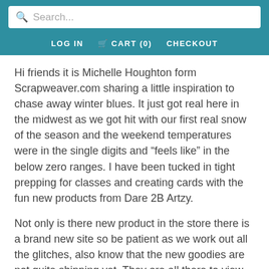Search...
LOG IN  CART (0)  CHECKOUT
Hi friends it is Michelle Houghton form Scrapweaver.com sharing a little inspiration to chase away winter blues. It just got real here in the midwest as we got hit with our first real snow of the season and the weekend temperatures were in the single digits and “feels like” in the below zero ranges. I have been tucked in tight prepping for classes and creating cards with the fun new products from Dare 2B Artzy.
Not only is there new product in the store there is a brand new site so be patient as we work out all the glitches, also know that the new goodies are not quite shipping yet. They are all there to view and purchase, but not ready to package up for a wee bit longer.